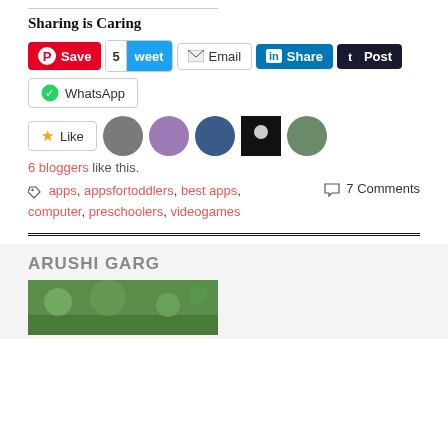Sharing is Caring
[Figure (other): Social sharing buttons: Pinterest Save, Tweet (5), Email, LinkedIn Share, Tumblr Post, WhatsApp]
[Figure (other): Like button with 6 blogger avatars]
6 bloggers like this.
apps, appsfortoddlers, best apps, computer, preschoolers, videogames | 7 Comments
ARUSHI GARG
[Figure (photo): Green foliage background photo for author section]